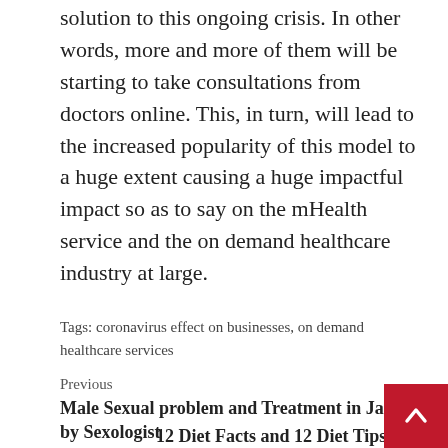solution to this ongoing crisis. In other words, more and more of them will be starting to take consultations from doctors online. This, in turn, will lead to the increased popularity of this model to a huge extent causing a huge impactful impact so as to say on the mHealth service and the on demand healthcare industry at large.
Tags: coronavirus effect on businesses, on demand healthcare services
Previous
Male Sexual problem and Treatment in Jaipur by Sexologist
Next
12 Diet Facts and 12 Diet Tips to Lose Weight